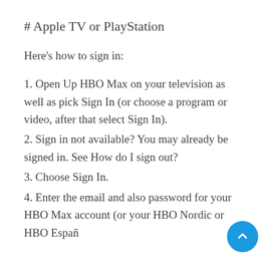# Apple TV or PlayStation
Here's how to sign in:
1. Open Up HBO Max on your television as well as pick Sign In (or choose a program or video, after that select Sign In).
2. Sign in not available? You may already be signed in. See How do I sign out?
3. Choose Sign In.
4. Enter the email and also password for your HBO Max account (or your HBO Nordic or HBO España account) and after that pick Sign in. Need aid? See